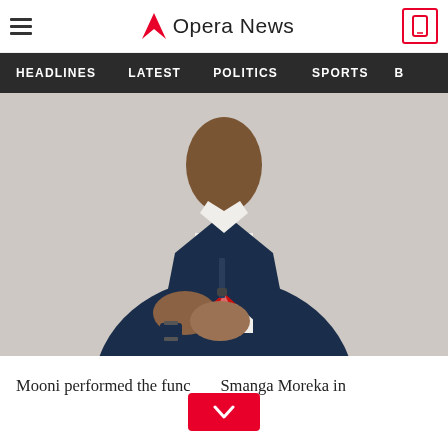Opera News
HEADLINES   LATEST   POLITICS   SPORTS
[Figure (photo): A man in a navy blue jacket wearing a watch and a red plaid tie, hands clasped together, photographed from the chest up against a light gray background.]
Mooni performed the func... Smanga Moreka in